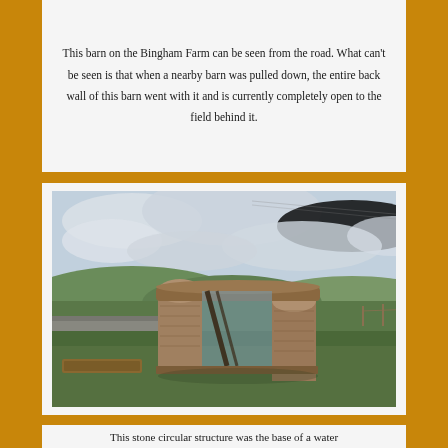This barn on the Bingham Farm can be seen from the road. What can't be seen is that when a nearby barn was pulled down, the entire back wall of this barn went with it and is currently completely open to the field behind it.
[Figure (photo): A stone circular structure (base of a water feature or well) with a rectangular doorway/lintel opening, sitting on green grass with a road, green fields, hills, and overcast sky in the background.]
This stone circular structure was the base of a water